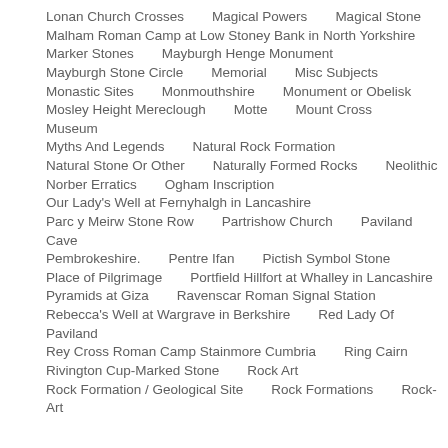Lonan Church Crosses
Magical Powers
Magical Stone
Malham Roman Camp at Low Stoney Bank in North Yorkshire
Marker Stones
Mayburgh Henge Monument
Mayburgh Stone Circle
Memorial
Misc Subjects
Monastic Sites
Monmouthshire
Monument or Obelisk
Mosley Height Mereclough
Motte
Mount Cross
Museum
Myths And Legends
Natural Rock Formation
Natural Stone Or Other
Naturally Formed Rocks
Neolithic
Norber Erratics
Ogham Inscription
Our Lady's Well at Fernyhalgh in Lancashire
Parc y Meirw Stone Row
Partrishow Church
Paviland Cave
Pembrokeshire.
Pentre Ifan
Pictish Symbol Stone
Place of Pilgrimage
Portfield Hillfort at Whalley in Lancashire
Pyramids at Giza
Ravenscar Roman Signal Station
Rebecca's Well at Wargrave in Berkshire
Red Lady Of Paviland
Rey Cross Roman Camp Stainmore Cumbria
Ring Cairn
Rivington Cup-Marked Stone
Rock Art
Rock Formation / Geological Site
Rock Formations
Rock-Art